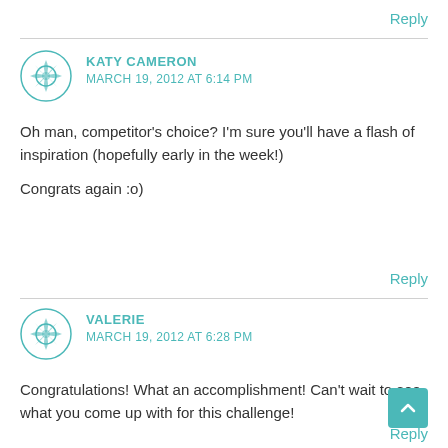Reply
KATY CAMERON
MARCH 19, 2012 AT 6:14 PM
Oh man, competitor's choice? I'm sure you'll have a flash of inspiration (hopefully early in the week!)

Congrats again :o)
Reply
VALERIE
MARCH 19, 2012 AT 6:28 PM
Congratulations! What an accomplishment! Can't wait to see what you come up with for this challenge!
Reply